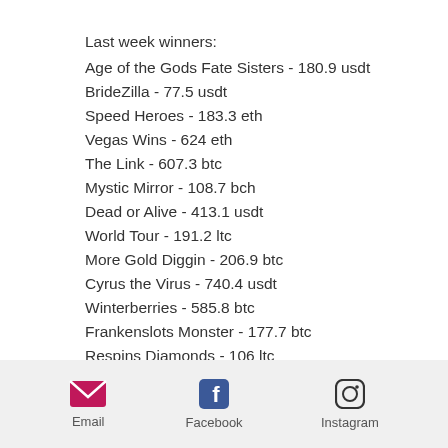Last week winners:
Age of the Gods Fate Sisters - 180.9 usdt
BrideZilla - 77.5 usdt
Speed Heroes - 183.3 eth
Vegas Wins - 624 eth
The Link - 607.3 btc
Mystic Mirror - 108.7 bch
Dead or Alive - 413.1 usdt
World Tour - 191.2 ltc
More Gold Diggin - 206.9 btc
Cyrus the Virus - 740.4 usdt
Winterberries - 585.8 btc
Frankenslots Monster - 177.7 btc
Respins Diamonds - 106 ltc
At the Movies - 268.7 usdt
Reel Steal - 206.6 usdt
Email  Facebook  Instagram